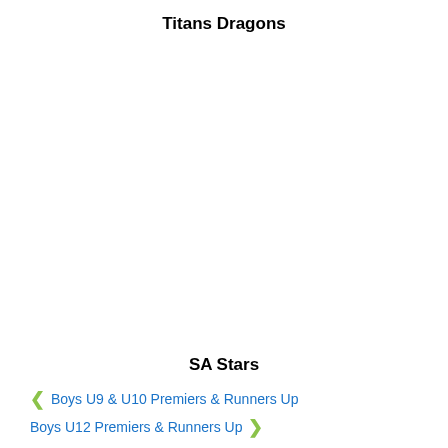Titans Dragons
SA Stars
< Boys U9 & U10 Premiers & Runners Up
Boys U12 Premiers & Runners Up >